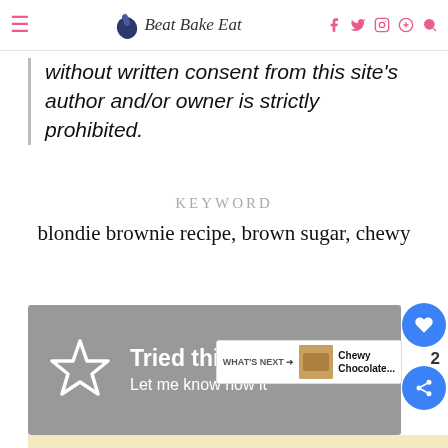Beat Bake Eat
without written consent from this site's author and/or owner is strictly prohibited.
KEYWORD
blondie brownie recipe, brown sugar, chewy
[Figure (other): Gray banner with star icon saying 'Tried this recipe? Let me know how it...']
[Figure (other): What's Next overlay with Chewy Chocolate... thumbnail]
#AloneTogether